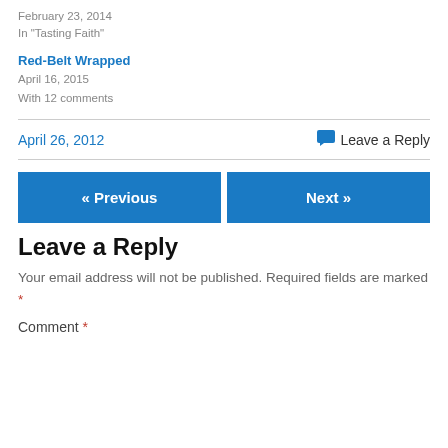February 23, 2014
In "Tasting Faith"
Red-Belt Wrapped
April 16, 2015
With 12 comments
April 26, 2012
Leave a Reply
« Previous
Next »
Leave a Reply
Your email address will not be published. Required fields are marked *
Comment *